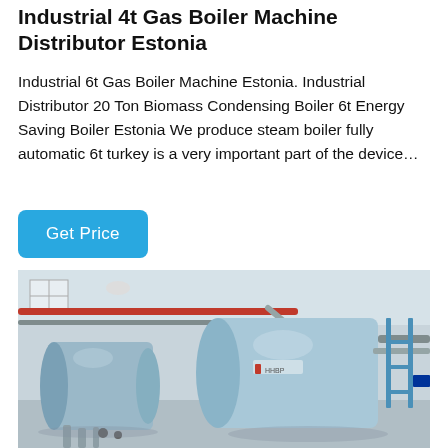Industrial 4t Gas Boiler Machine Distributor Estonia
Industrial 6t Gas Boiler Machine Estonia. Industrial Distributor 20 Ton Biomass Condensing Boiler 6t Energy Saving Boiler Estonia We produce steam boiler fully automatic 6t turkey is a very important part of the device…
[Figure (other): Button labeled 'Get Price' with blue rounded rectangle background]
[Figure (photo): Industrial boiler room showing two large light-blue cylindrical gas boilers with red and grey pipes, scaffolding, and industrial fittings in a warehouse-style building]